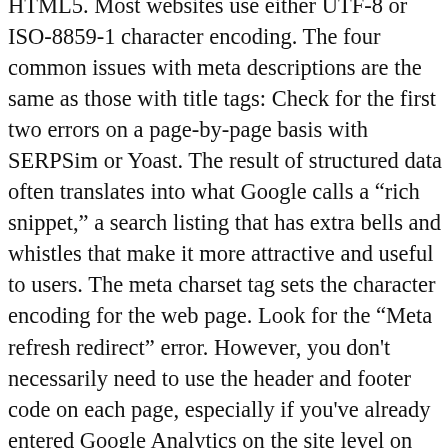HTML5. Most websites use either UTF-8 or ISO-8859-1 character encoding. The four common issues with meta descriptions are the same as those with title tags: Check for the first two errors on a page-by-page basis with SERPSim or Yoast. The result of structured data often translates into what Google calls a “rich snippet,” a search listing that has extra bells and whistles that make it more attractive and useful to users. The meta charset tag sets the character encoding for the web page. Look for the “Meta refresh redirect” error. However, you don't necessarily need to use the header and footer code on each page, especially if you've already entered Google Analytics on the site level on the Settings tab. Simply put, search engine optimization is the practice or organizing your website's content and HTML to improve each page's organic rank (organic